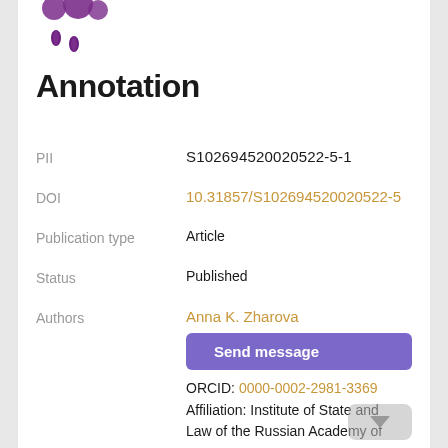[Figure (logo): Purple droplet/molecule logo (partial, cropped at top)]
Annotation
PII   S102694520020522-5-1
DOI   10.31857/S102694520020522-5
Publication type   Article
Status   Published
Authors   Anna K. Zharova
Send message
ORCID: 0000-0002-2981-3369
Affiliation: Institute of State and Law of the Russian Academy of